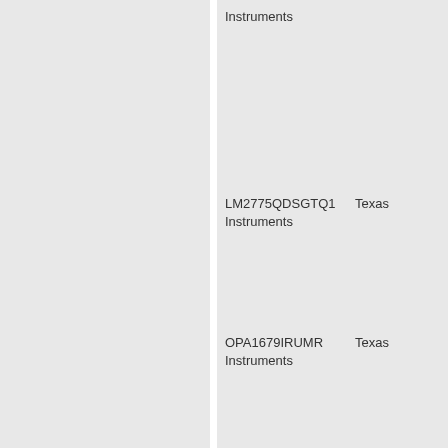Instruments
LM2775QDSGTQ1
Texas Instruments
OPA1679IRUMR
Texas Instruments
PTLV9004IDR
Texas Instruments
TLV9004IPWR
Texas Instruments